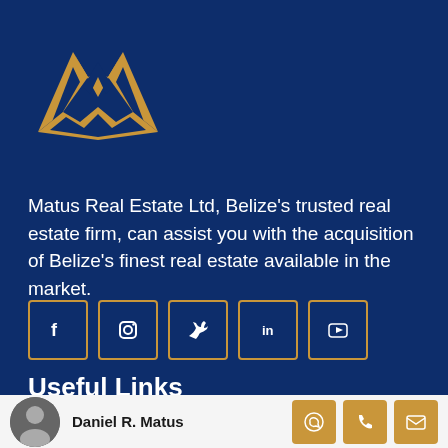[Figure (logo): Matus Real Estate logo - golden M emblem with MATUS REAL ESTATE text]
Matus Real Estate Ltd, Belize's trusted real estate firm, can assist you with the acquisition of Belize's finest real estate available in the market.
[Figure (infographic): Social media buttons: Facebook, Instagram, Twitter, LinkedIn, YouTube — outlined in gold/yellow on dark blue background]
Useful Links
Home
[Figure (photo): Headshot photo of Daniel R. Matus]
Daniel R. Matus